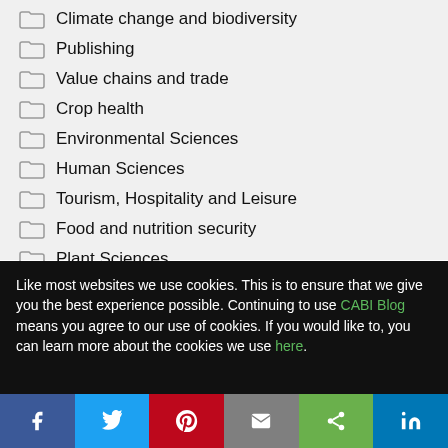Climate change and biodiversity
Publishing
Value chains and trade
Crop health
Environmental Sciences
Human Sciences
Tourism, Hospitality and Leisure
Food and nutrition security
Plant Sciences
Gender and youth
Like most websites we use cookies. This is to ensure that we give you the best experience possible. Continuing to use CABI Blog means you agree to our use of cookies. If you would like to, you can learn more about the cookies we use here.
Facebook Twitter Pinterest Email Share LinkedIn